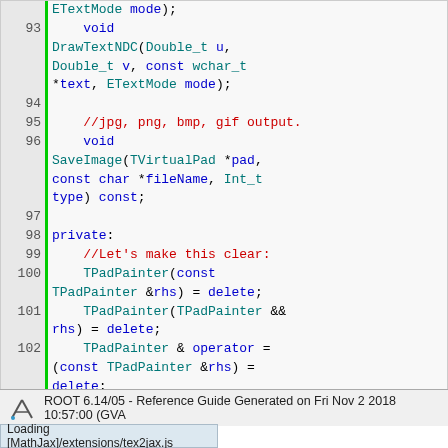[Figure (screenshot): Source code viewer showing C++ class definition lines 93-108 with syntax highlighting. Line numbers on left with green border. Keywords in blue/teal, comments in red, types in teal.]
ROOT 6.14/05 - Reference Guide Generated on Fri Nov 2 2018 10:57:00 (GVA
Loading [MathJax]/extensions/tex2jax.js